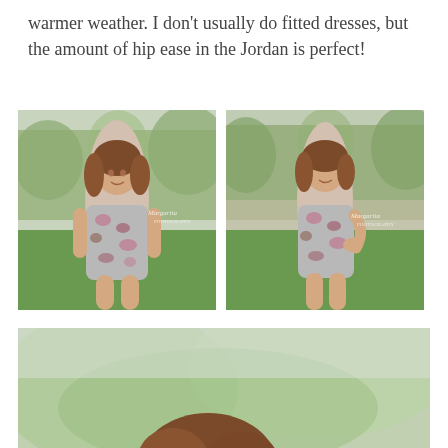warmer weather. I don't usually do fitted dresses, but the amount of hip ease in the Jordan is perfect!
[Figure (photo): Front-facing photo of a woman wearing a sleeveless floral hoodie dress (grey with pink flowers) standing on grass with trees in background. Watermark reads Margarita.]
[Figure (photo): Side-angled photo of the same woman in the same floral hoodie dress, posing with hand on hip. Watermark reads Margarita.]
[Figure (photo): Close-up/partial photo showing the top of the woman's head and hair with blurred green background.]